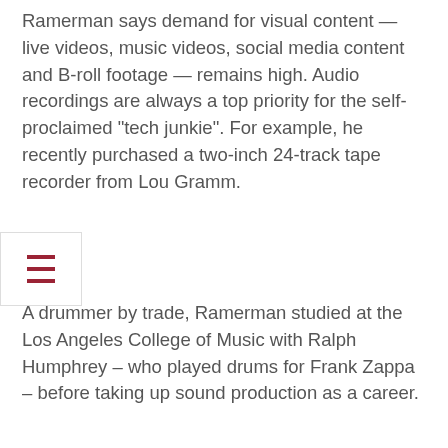Ramerman says demand for visual content — live videos, music videos, social media content and B-roll footage — remains high. Audio recordings are always a top priority for the self-proclaimed “tech junkie”. For example, he recently purchased a two-inch 24-track tape recorder from Lou Gramm.
A drummer by trade, Ramerman studied at the Los Angeles College of Music with Ralph Humphrey – who played drums for Frank Zappa – before taking up sound production as a career.
“My role in sound is to help the artist get the sound he hears in his head,” Ramerman explains.
Click to enlarge
[Figure (photo): Dark industrial interior with staircase on the right side and people/figures visible at the bottom center, wood paneling on the left edge]